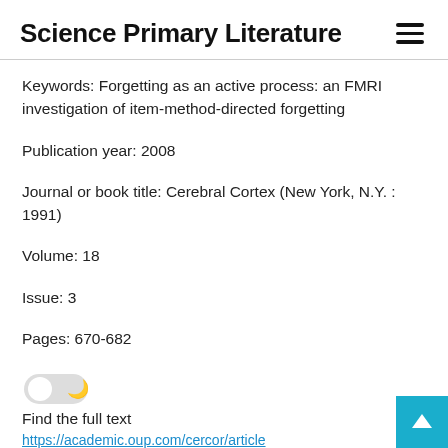Science Primary Literature
Keywords: Forgetting as an active process: an FMRI investigation of item-method-directed forgetting
Publication year: 2008
Journal or book title: Cerebral Cortex (New York, N.Y. : 1991)
Volume: 18
Issue: 3
Pages: 670-682
Find the full text